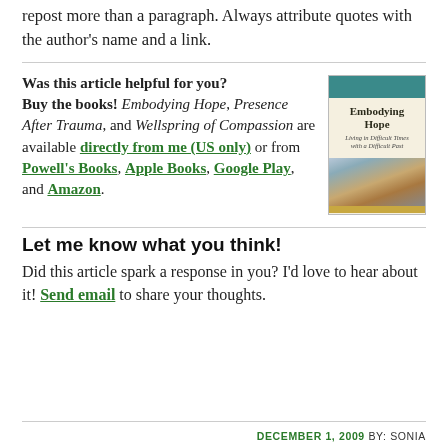repost more than a paragraph. Always attribute quotes with the author's name and a link.
Was this article helpful for you? Buy the books! Embodying Hope, Presence After Trauma, and Wellspring of Compassion are available directly from me (US only) or from Powell's Books, Apple Books, Google Play, and Amazon.
[Figure (illustration): Book cover of 'Embodying Hope: Living in Difficult Times with a Difficult Past' by Sonia Connolly. Teal header, cream background with title, photo of rocky canyon/stream, gold band, and author name.]
Let me know what you think!
Did this article spark a response in you? I'd love to hear about it! Send email to share your thoughts.
DECEMBER 1, 2009 BY: SONIA